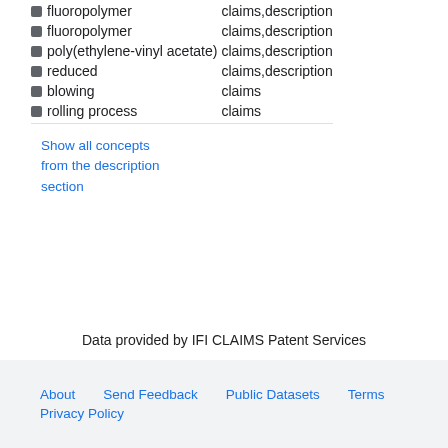| Concept | Found in |
| --- | --- |
| fluoropolymer | claims,description |
| fluoropolymer | claims,description |
| poly(ethylene-vinyl acetate) | claims,description |
| reduced | claims,description |
| blowing | claims |
| rolling process | claims |
Show all concepts from the description section
Data provided by IFI CLAIMS Patent Services
About   Send Feedback   Public Datasets   Terms   Privacy Policy